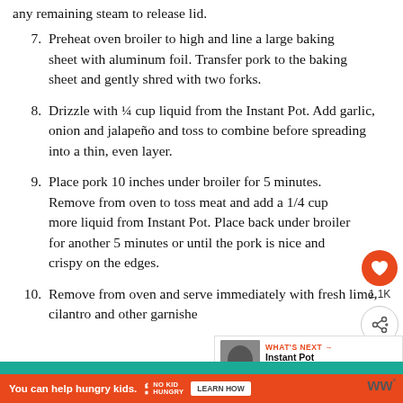any remaining steam to release lid.
7. Preheat oven broiler to high and line a large baking sheet with aluminum foil. Transfer pork to the baking sheet and gently shred with two forks.
8. Drizzle with ¼ cup liquid from the Instant Pot. Add garlic, onion and jalapeño and toss to combine before spreading into a thin, even layer.
9. Place pork 10 inches under broiler for 5 minutes. Remove from oven to toss meat and add a 1/4 cup more liquid from Instant Pot. Place back under broiler for another 5 minutes or until the pork is nice and crispy on the edges.
10. Remove from oven and serve immediately with fresh lime, cilantro and other garnishes.
[Figure (screenshot): Social sharing sidebar with heart/like button showing 1.1K and a share button]
[Figure (infographic): WHAT'S NEXT panel showing Instant Pot Balsamic Po... with thumbnail image]
[Figure (screenshot): Teal advertisement bar with X close button]
[Figure (screenshot): Orange No Kid Hungry advertisement bar with LEARN HOW button and WW logo]